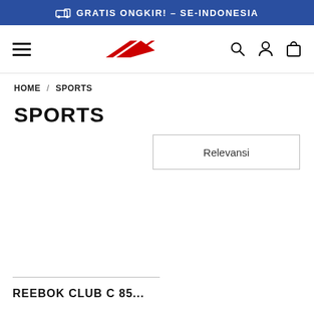🚚 GRATIS ONGKIR! – SE-INDONESIA
[Figure (logo): Reebok logo (red vector mark) centered in navigation bar with hamburger menu, search, account, and cart icons]
HOME / SPORTS
SPORTS
Relevansi
REEBOK CLUB C 85...